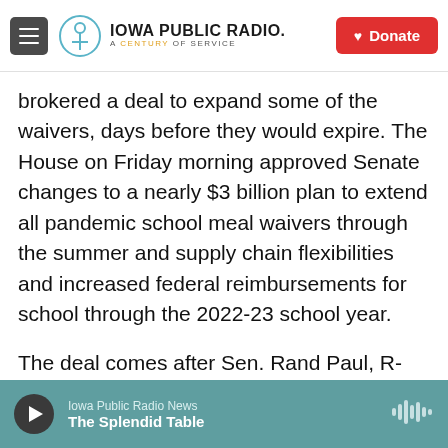Iowa Public Radio – A Century of Service | Donate
brokered a deal to expand some of the waivers, days before they would expire. The House on Friday morning approved Senate changes to a nearly $3 billion plan to extend all pandemic school meal waivers through the summer and supply chain flexibilities and increased federal reimbursements for school through the 2022-23 school year.
The deal comes after Sen. Rand Paul, R-Ky., blocked the bill in the Senate, urging lawmakers to bring back the "reduced price" category of the National School Lunch Program.
Iowa Public Radio News – The Splendid Table